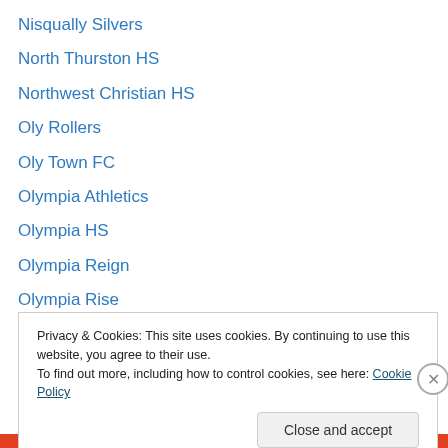Nisqually Silvers
North Thurston HS
Northwest Christian HS
Oly Rollers
Oly Town FC
Olympia Athletics
Olympia HS
Olympia Reign
Olympia Rise
Photo Galleries
Pope John Paul II HS
Premier Player Award
Puget Sound Collegiate League
Privacy & Cookies: This site uses cookies. By continuing to use this website, you agree to their use.
To find out more, including how to control cookies, see here: Cookie Policy
Close and accept